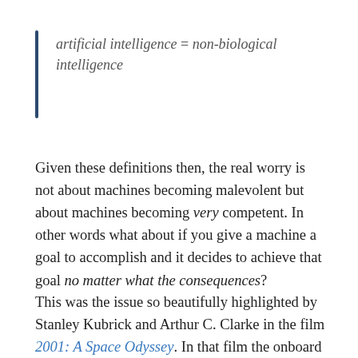artificial intelligence = non-biological intelligence
Given these definitions then, the real worry is not about machines becoming malevolent but about machines becoming very competent. In other words what about if you give a machine a goal to accomplish and it decides to achieve that goal no matter what the consequences?
This was the issue so beautifully highlighted by Stanley Kubrick and Arthur C. Clarke in the film 2001: A Space Odyssey. In that film the onboard